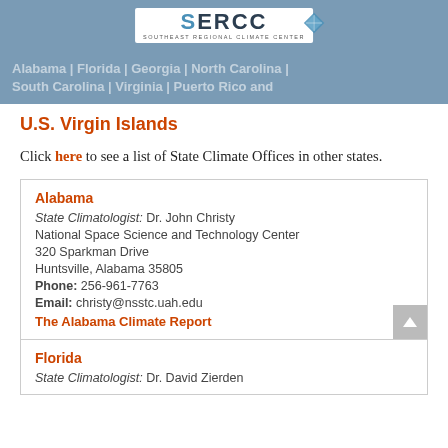Alabama | Florida | Georgia | North Carolina | South Carolina | Virginia | Puerto Rico and U.S. Virgin Islands
[Figure (logo): SERCC Southeast Regional Climate Center logo with blue diamond shape]
U.S. Virgin Islands
Click here to see a list of State Climate Offices in other states.
Alabama
State Climatologist: Dr. John Christy
National Space Science and Technology Center
320 Sparkman Drive
Huntsville, Alabama 35805
Phone: 256-961-7763
Email: christy@nsstc.uah.edu
The Alabama Climate Report
Florida
State Climatologist: Dr. David Zierden